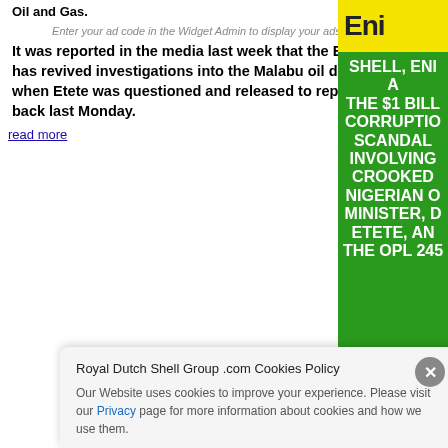Oil and Gas.
Enter your ad code in the Widget Admin to display your ads here
It was reported in the media last week that the EFCC has revived investigations into the Malabu oil deal when Etete was questioned and released to report back last Monday.
read more
[Figure (infographic): Green panel with yellow top showing ENI logo and large white bold text: SHELL, ENI A, THE $1 BILL, CORRUPTIO, SCANDAL, INVOLVING, CROOKED, NIGERIAN O, MINISTER, D, ETETE, AN, THE OPL 245, OLD, O A, TER, IA]
Royal Dutch Shell Group .com Cookies Policy
Our Website uses cookies to improve your experience. Please visit our Privacy page for more information about cookies and how we use them.